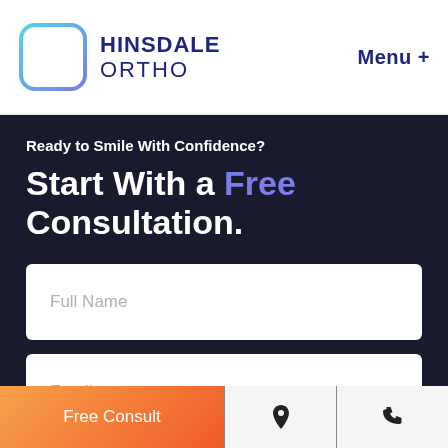HINSDALE ORTHO | Menu +
Ready to Smile With Confidence?
Start With a Free Consultation.
Full Name
Email
Free Consult | [location icon] | [phone icon]